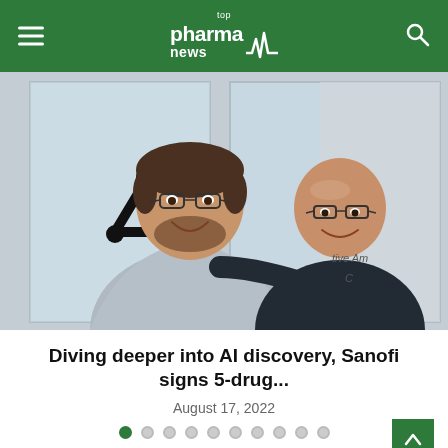top pharma news
[Figure (photo): Two men taking a selfie outdoors in front of a building with a triangular logo sign. The man on the left has dark hair, a beard, and glasses, wearing a grey fleece over a green shirt. The man on the right is bald with glasses, wearing a dark puffer jacket.]
Diving deeper into AI discovery, Sanofi signs 5-drug...
August 17, 2022